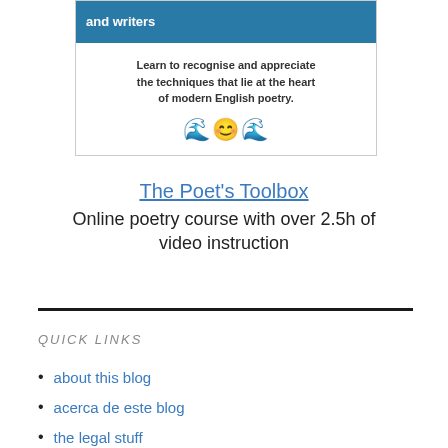[Figure (illustration): Banner image with teal/blue background and white bold text reading 'and writers', with a partial figure on the right side]
Learn to recognise and appreciate the techniques that lie at the heart of modern English poetry.
[Figure (illustration): Decorative ornament with swirl/scroll design]
The Poet's Toolbox
Online poetry course with over 2.5h of video instruction
QUICK LINKS
about this blog
acerca de este blog
the legal stuff